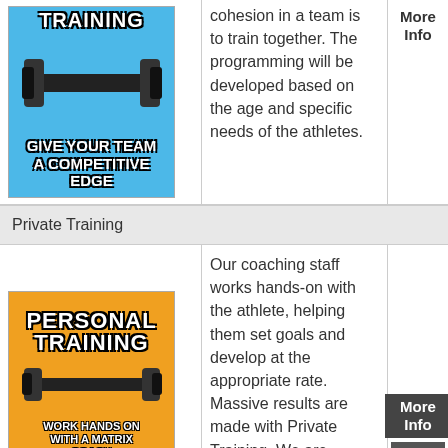[Figure (illustration): Blue background image with text 'GIVE YOUR TEAM A COMPETITIVE EDGE' in white bold Impact font, with a dumbbell graphic overlay]
cohesion in a team is to train together. The programming will be developed based on the age and specific needs of the athletes.
More Info
Private Training
[Figure (illustration): Orange background image with text 'PERSONAL TRAINING' in large white Impact font, 'WORK HANDS ON WITH A MATRIX COACH' below, with dumbbell graphics]
Our coaching staff works hands-on with the athlete, helping them set goals and develop at the appropriate rate. Massive results are made with Private Training. We are
More Info